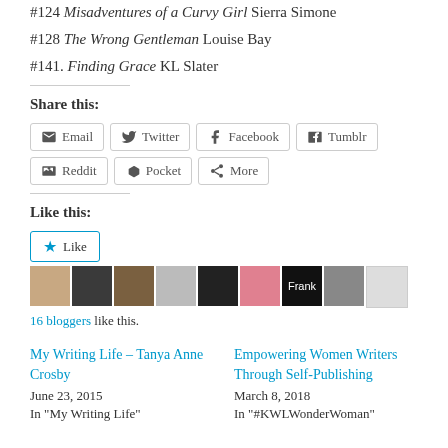#124 Misadventures of a Curvy Girl Sierra Simone
#128 The Wrong Gentleman Louise Bay
#141. Finding Grace KL Slater
Share this:
Email Twitter Facebook Tumblr Reddit Pocket More
Like this:
Like | 16 bloggers like this.
My Writing Life – Tanya Anne Crosby
June 23, 2015
In "My Writing Life"
Empowering Women Writers Through Self-Publishing
March 8, 2018
In "#KWLWonderWoman"